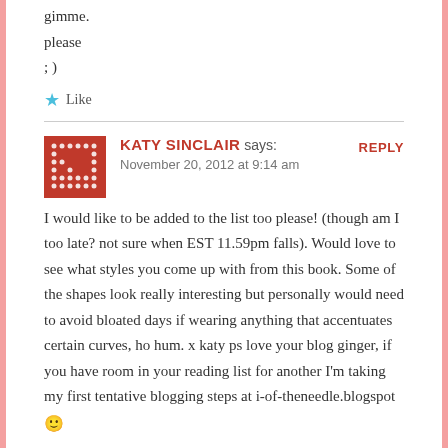gimme.
please
; )
Like
KATY SINCLAIR says:
November 20, 2012 at 9:14 am
REPLY
I would like to be added to the list too please! (though am I too late? not sure when EST 11.59pm falls). Would love to see what styles you come up with from this book. Some of the shapes look really interesting but personally would need to avoid bloated days if wearing anything that accentuates certain curves, ho hum. x katy ps love your blog ginger, if you have room in your reading list for another I'm taking my first tentative blogging steps at i-of-theneedle.blogspot 🙂
Like
MADDIE says:
November 20, 2012 at 12:53 pm
REPLY